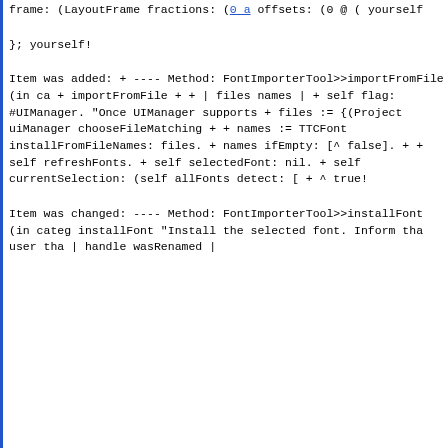frame: (LayoutFrame
    fractions: (0 a
    offsets: (0 @ (
yourself
};
    yourself!
Item was added:
+ ---- Method: FontImporterTool>>importFromFile (in ca
+ importFromFile
+
+        | files names |
+        self flag: #UIManager. "Once UIManager supports
+        files := {(Project uiManager chooseFileMatching
+
+        names := TTCFont installFromFileNames: files.
+        names ifEmpty: [^ false].
+
+        self refreshFonts.
+        self selectedFont: nil.
+        self currentSelection: (self allFonts detect: [
+        ^ true!
Item was changed:
  ---- Method: FontImporterTool>>installFont (in categ
  installFont
        "Install the selected font. Inform tha user tha

        | handle wasRenamed |